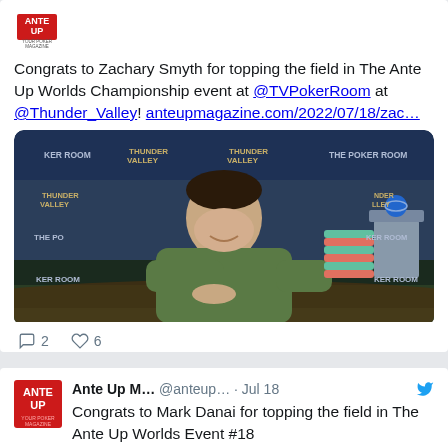Congrats to Zachary Smyth for topping the field in The Ante Up Worlds Championship event at @TVPokerRoom at @Thunder_Valley! anteupmagazine.com/2022/07/18/zac…
[Figure (photo): Young man in green hoodie sitting at a poker table with poker chips and a trophy, in front of Thunder Valley Poker Room backdrop]
2  6
Ante Up M… @anteup… · Jul 18  Congrats to Mark Danai for topping the field in The Ante Up Worlds Event #18